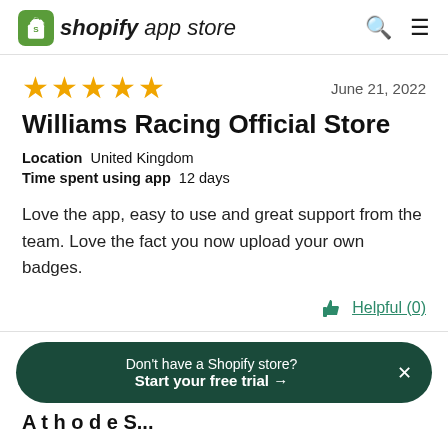shopify app store
★★★★★  June 21, 2022
Williams Racing Official Store
Location  United Kingdom
Time spent using app  12 days
Love the app, easy to use and great support from the team. Love the fact you now upload your own badges.
Helpful (0)
Don't have a Shopify store? Start your free trial →
A t h o d e S...